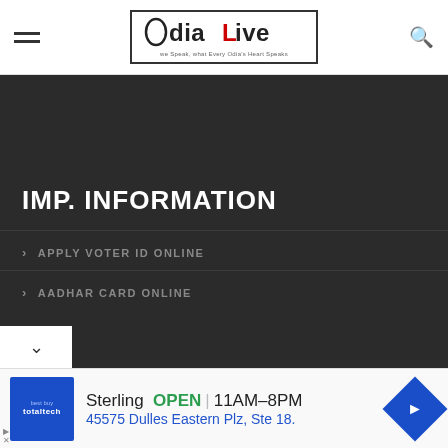[Figure (logo): OdiaLive website logo with hamburger menu and search icon in header]
IMP. INFORMATION
APPLY VOTER ID ONLINE
AADHAR CARD ONLINE
[Figure (screenshot): Ad banner: Sterling, OPEN 11AM–8PM, 45575 Dulles Eastern Plz, Ste 18. with totaltech logo and navigation icon]